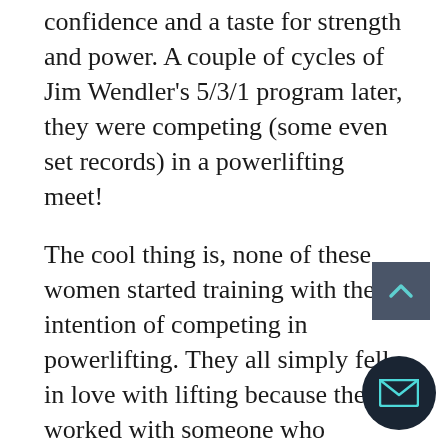confidence and a taste for strength and power. A couple of cycles of Jim Wendler's 5/3/1 program later, they were competing (some even set records) in a powerlifting meet!
The cool thing is, none of these women started training with the intention of competing in powerlifting. They all simply fell in love with lifting because they worked with someone who supported them by following the guidelines above.
If you want to help women in your life fall in love with lifting, take that advice and watch the magic happen. She will!